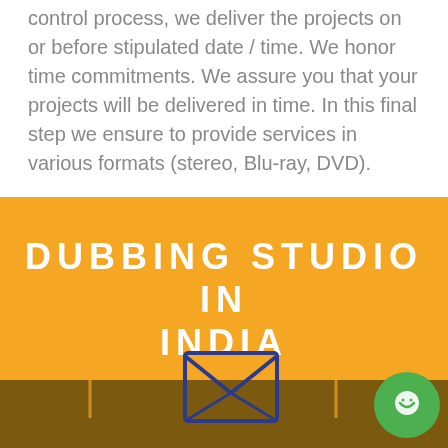control process, we deliver the projects on or before stipulated date / time. We honor time commitments. We assure you that your projects will be delivered in time. In this final step we ensure to provide services in various formats (stereo, Blu-ray, DVD).
DUBBING STUDIO IN INDIA
[Figure (illustration): Orange section with title 'DUBBING STUDIO IN INDIA', a horizontal divider, an envelope icon at the bottom center, vertical tick marks on a brown bar at the bottom, and a green chat bubble icon at bottom right.]